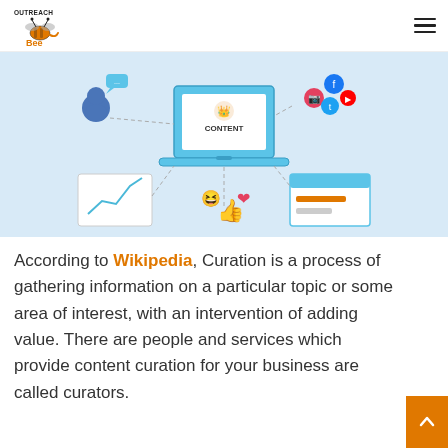OutreachBee logo and navigation menu
[Figure (illustration): Content curation illustration on light blue background showing a laptop with 'CONTENT' label, a person icon with speech bubble, social media icons, a chart with upward trending line, a thumbs up with heart emoji, and a browser window icon, all connected by dashed lines.]
According to Wikipedia, Curation is a process of gathering information on a particular topic or some area of interest, with an intervention of adding value. There are people and services which provide content curation for your business are called curators.